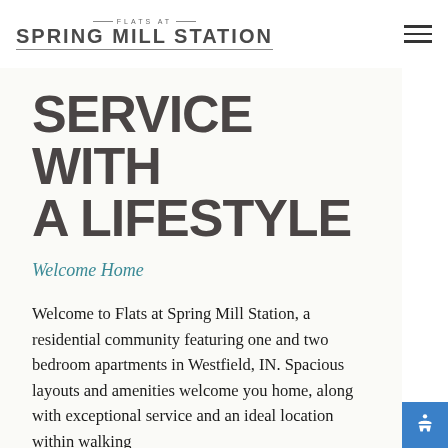FLATS AT SPRING MILL STATION
SERVICE WITH A LIFESTYLE
Welcome Home
Welcome to Flats at Spring Mill Station, a residential community featuring one and two bedroom apartments in Westfield, IN. Spacious layouts and amenities welcome you home, along with exceptional service and an ideal location within walking